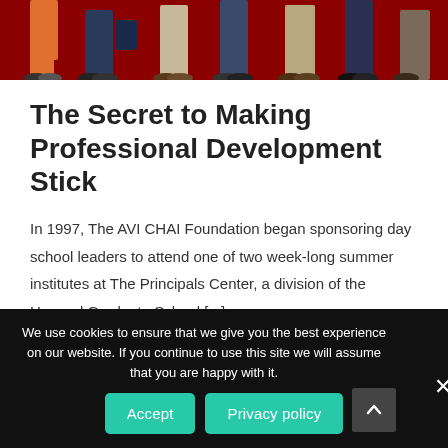[Figure (photo): Photo showing feet and lower legs of several people standing, with a dark red background. People are wearing varied casual clothing — orange pants, jeans, khakis.]
The Secret to Making Professional Development Stick
In 1997, The AVI CHAI Foundation began sponsoring day school leaders to attend one of two week-long summer institutes at The Principals Center, a division of the Harvard Graduate School [...]
We use cookies to ensure that we give you the best experience on our website. If you continue to use this site we will assume that you are happy with it.